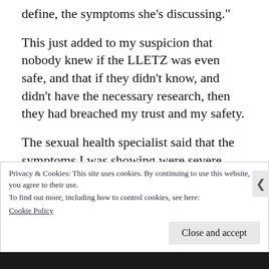define, the symptoms she’s discussing.”
This just added to my suspicion that nobody knew if the LLETZ was even safe, and that if they didn’t know, and didn’t have the necessary research, then they had breached my trust and my safety.
The sexual health specialist said that the symptoms I was showing were severe PTSD
Privacy & Cookies: This site uses cookies. By continuing to use this website, you agree to their use.
To find out more, including how to control cookies, see here: Cookie Policy
Close and accept